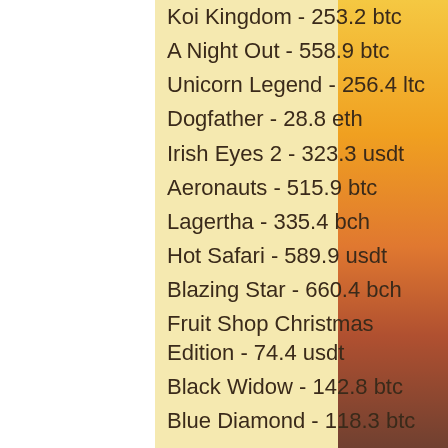Koi Kingdom - 253.2 btc
A Night Out - 558.9 btc
Unicorn Legend - 256.4 ltc
Dogfather - 28.8 eth
Irish Eyes 2 - 323.3 usdt
Aeronauts - 515.9 btc
Lagertha - 335.4 bch
Hot Safari - 589.9 usdt
Blazing Star - 660.4 bch
Fruit Shop Christmas Edition - 74.4 usdt
Black Widow - 142.8 btc
Blue Diamond - 118.3 btc
Videoslots, card and board games:
King Billy Casino Duck of Luck Returns
Betchan Casino Book of Aztec
King Billy Casino Booming Bananas
Oshi Casino 7 wonders
OneHash Mega Fortune
Playamo Casino Fruit Cocktail
King Billy Casino Dead or Alive